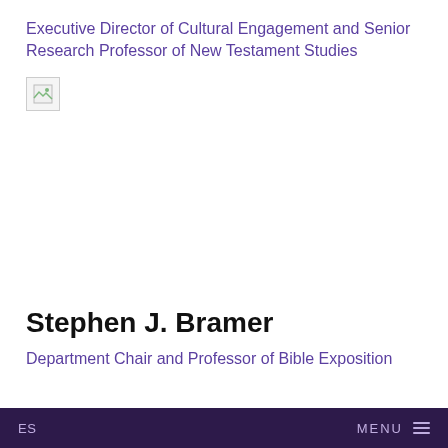Executive Director of Cultural Engagement and Senior Research Professor of New Testament Studies
[Figure (photo): Broken/placeholder image icon]
Stephen J. Bramer
Department Chair and Professor of Bible Exposition
ES    MENU